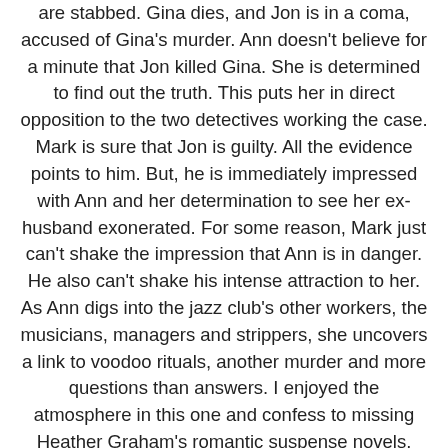are stabbed. Gina dies, and Jon is in a coma, accused of Gina's murder. Ann doesn't believe for a minute that Jon killed Gina. She is determined to find out the truth. This puts her in direct opposition to the two detectives working the case. Mark is sure that Jon is guilty. All the evidence points to him. But, he is immediately impressed with Ann and her determination to see her ex-husband exonerated. For some reason, Mark just can't shake the impression that Ann is in danger. He also can't shake his intense attraction to her. As Ann digs into the jazz club's other workers, the musicians, managers and strippers, she uncovers a link to voodoo rituals, another murder and more questions than answers. I enjoyed the atmosphere in this one and confess to missing Heather Graham's romantic suspense novels. New Orleans is one of my favorite destinations and I love it when a book is set in this location. Our hero is a bit of a jerk at first. He comes on a little too strong and is a bit bossy. As the novel progresses, Mark still attempts to steer Ann away from the investigation for her own safety, but the chemistry between the two is undeniable. I am happy to see several of these older books being released in e book format. It is fun to go back and read an author's older material and see it updated for new fans to enjoy. Over all I give this one a B...